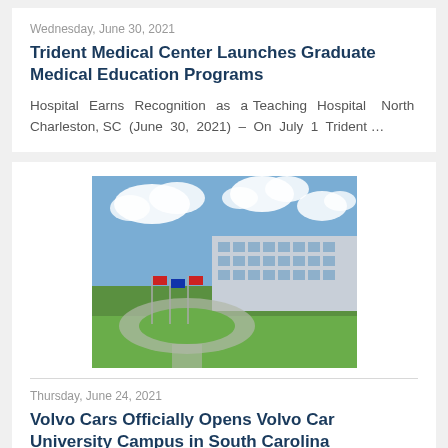Wednesday, June 30, 2021
Trident Medical Center Launches Graduate Medical Education Programs
Hospital Earns Recognition as a Teaching Hospital  North Charleston, SC (June 30, 2021) – On July 1 Trident …
[Figure (photo): Aerial view of a modern building with a circular driveway, flags, and green lawn under a partly cloudy sky.]
Thursday, June 24, 2021
Volvo Cars Officially Opens Volvo Car University Campus in South Carolina
RIDGEVILLE, SC (June 23, 2021) A grand